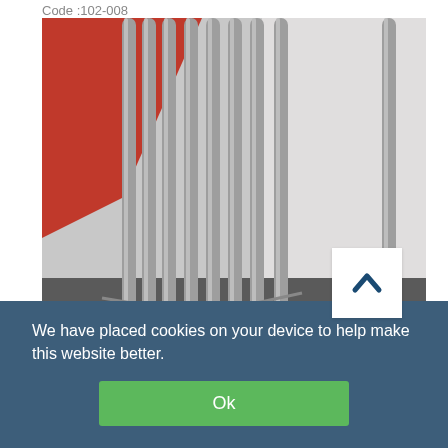Code :102-008
[Figure (photo): Close-up photo of multiple grey/silver cylindrical rods or tubes arranged vertically, with a red surface visible on the left side and metallic/white background.]
We have placed cookies on your device to help make this website better.
Ok